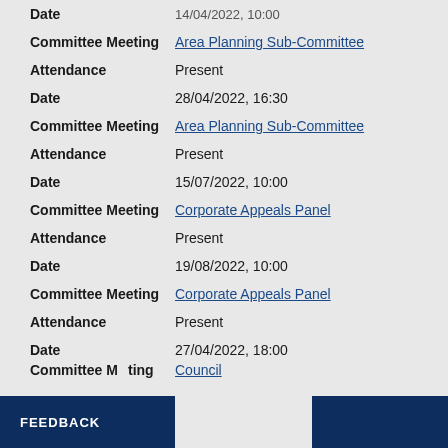Committee Meeting   Area Planning Sub-Committee
Attendance   Present
Date   28/04/2022, 16:30
Committee Meeting   Area Planning Sub-Committee
Attendance   Present
Date   15/07/2022, 10:00
Committee Meeting   Corporate Appeals Panel
Attendance   Present
Date   19/08/2022, 10:00
Committee Meeting   Corporate Appeals Panel
Attendance   Present
Date   27/04/2022, 18:00
Committee Meeting   Council
FEEDBACK